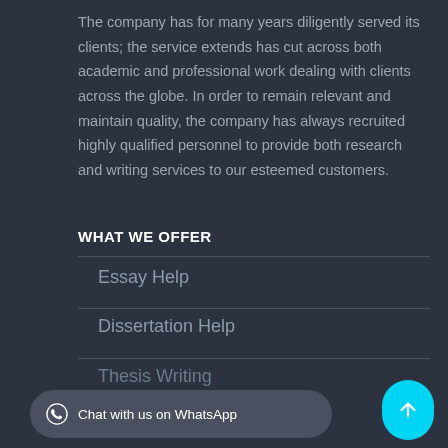The company has for many years diligently served its clients; the service extends has cut across both academic and professional work dealing with clients across the globe. In order to remain relevant and maintain quality, the company has always recruited highly qualified personnel to provide both research and writing services to our esteemed customers.
WHAT WE OFFER
Essay Help
Dissertation Help
Thesis Writing
Chat with us on WhatsApp